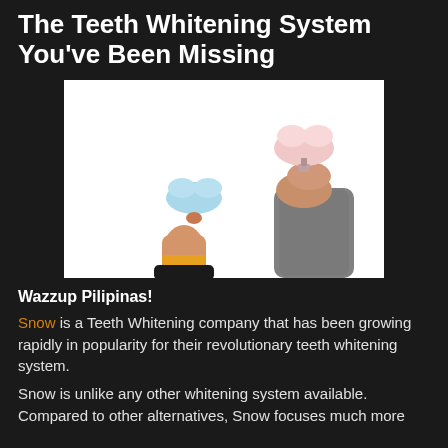The Teeth Whitening System You've Been Missing
[Figure (photo): Two hands holding teeth whitening mouthguard trays against a white background. The left hand belongs to a person with red nail polish and a yellow-orange bracelet. The right hand belongs to a person wearing a dark grey long-sleeve shirt.]
Wazzup Pilipinas!
Snow is a Teeth Whitening company that has been growing rapidly in popularity for their revolutionary teeth whitening system.
Snow is unlike any other whitening system available. Compared to other alternatives, Snow focuses much more